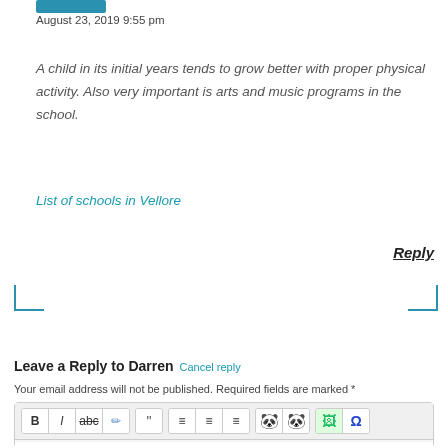[Figure (other): Blue avatar image cropped at top]
August 23, 2019 9:55 pm
A child in its initial years tends to grow better with proper physical activity. Also very important is arts and music programs in the school.
List of schools in Vellore
Reply
Leave a Reply to Darren  Cancel reply
Your email address will not be published. Required fields are marked *
[Figure (screenshot): Comment editor toolbar with Bold, Italic, Strikethrough, Erase, Quote, alignment buttons, emoji icons, image, and omega symbol buttons, followed by empty text area]